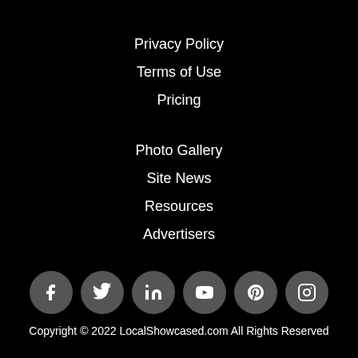Privacy Policy
Terms of Use
Pricing
Photo Gallery
Site News
Resources
Advertisers
[Figure (infographic): Social media icons in dark grey circles: Facebook, Twitter, LinkedIn, YouTube, Pinterest, Instagram]
Copyright © 2022 LocalShowcased.com All Rights Reserved